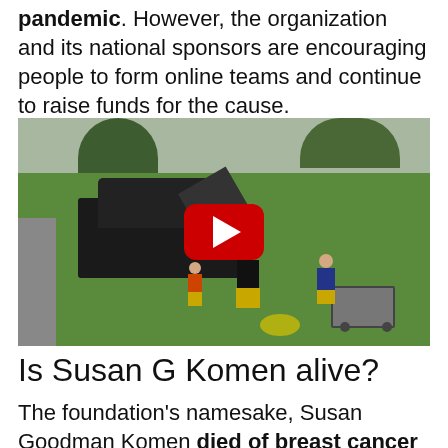pandemic. However, the organization and its national sponsors are encouraging people to form online teams and continue to raise funds for the cause.
[Figure (photo): Outdoor scene showing people in a park with a dark SUV with its trunk open. A person wearing black shirt and yellow pants stands in the center. A child and a wagon are visible on the right. There is a YouTube play button overlay in the center of the image.]
Is Susan G Komen alive?
The foundation's namesake, Susan Goodman Komen died of breast cancer in 1980, at the age of 36.